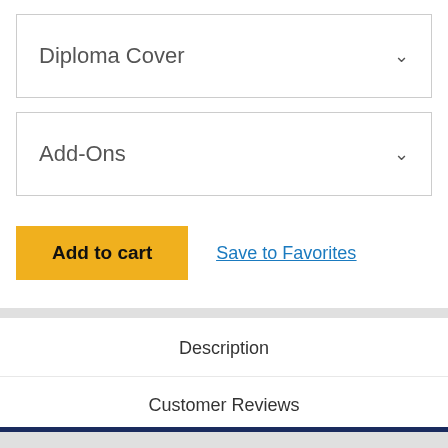Diploma Cover
Add-Ons
Add to cart
Save to Favorites
Description
Customer Reviews
Related